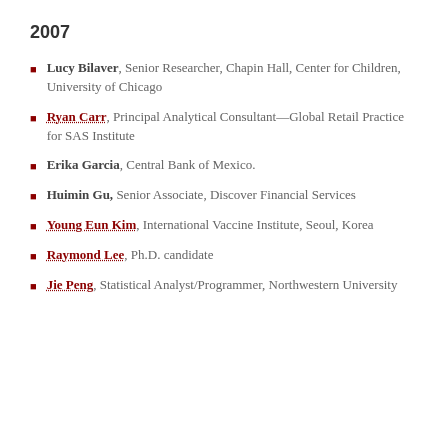2007
Lucy Bilaver, Senior Researcher, Chapin Hall, Center for Children, University of Chicago
Ryan Carr, Principal Analytical Consultant—Global Retail Practice for SAS Institute
Erika Garcia, Central Bank of Mexico.
Huimin Gu, Senior Associate, Discover Financial Services
Young Eun Kim, International Vaccine Institute, Seoul, Korea
Raymond Lee, Ph.D. candidate
Jie Peng, Statistical Analyst/Programmer, Northwestern University